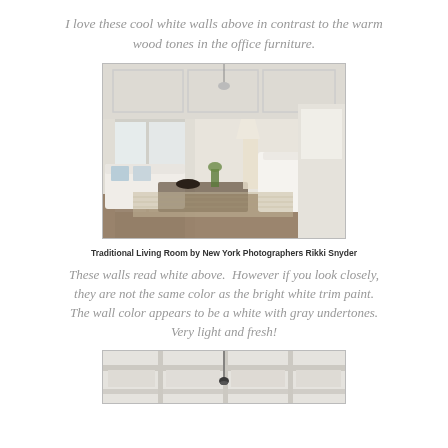I love these cool white walls above in contrast to the warm wood tones in the office furniture.
[Figure (photo): A bright traditional living room with white walls, coffered ceiling, white upholstered furniture, dark wood coffee table, and a glimpse into an adjacent kitchen area. Light linen curtains frame large windows.]
Traditional Living Room by New York Photographers Rikki Snyder
These walls read white above.  However if you look closely, they are not the same color as the bright white trim paint. The wall color appears to be a white with gray undertones. Very light and fresh!
[Figure (photo): Partial view of a white coffered ceiling with a dark pendant light fixture, showing architectural details of a traditional interior.]